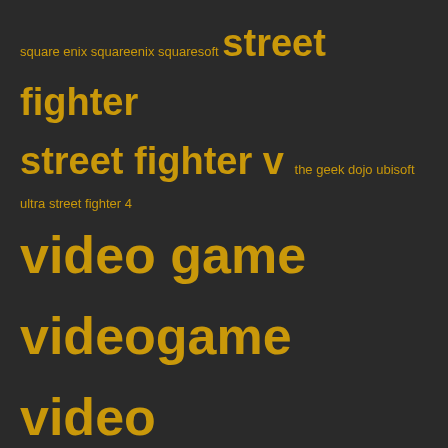square enix squareenix squaresoft street fighter street fighter v the geek dojo ubisoft ultra street fighter 4 video game videogame video gameblogging video games videogames weekend weekend gaming wiiu witcher 3 xb1 xbox xbox 360 Xbox One
META
Register
Log in